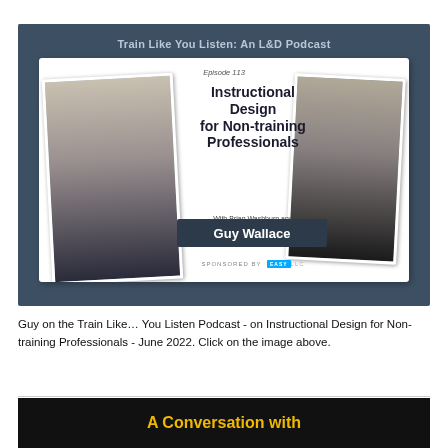[Figure (illustration): Podcast episode card for 'Train Like You Listen: An L&D Podcast', Episode 113: Instructional Design for Non-training Professionals, with Brian Washburn and Guy Wallace. Features two headshot photos and a dark blue background.]
Guy on the Train Like… You Listen Podcast - on Instructional Design for Non-training Professionals - June 2022. Click on the image above.
[Figure (illustration): Black banner with gold text reading 'A Conversation with']